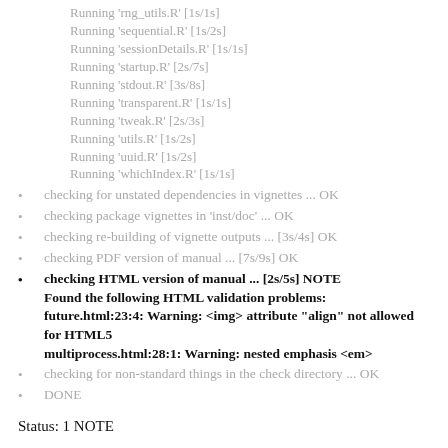Running 'rng_utils.R' [1s/1s]
Running 'sequential.R' [1s/2s]
Running 'sessionDetails.R' [1s/1s]
Running 'startup.R' [2s/7s]
Running 'stdout.R' [3s/8s]
Running 'transparent.R' [1s/1s]
Running 'tweak.R' [2s/3s]
Running 'utils.R' [1s/2s]
Running 'uuid.R' [1s/2s]
Running 'whichIndex.R' [1s/1s]
checking for unstated dependencies in vignettes ... OK
checking package vignettes in 'inst/doc' ... OK
checking re-building of vignette outputs ... [3s/4s] OK
checking PDF version of manual ... [7s/9s] OK
checking HTML version of manual ... [2s/5s] NOTE
Found the following HTML validation problems:
future.html:23:4: Warning: <img> attribute "align" not allowed for HTML5
multiprocess.html:28:1: Warning: nested emphasis <em>
checking for non-standard things in the check directory ... OK
DONE
Status: 1 NOTE